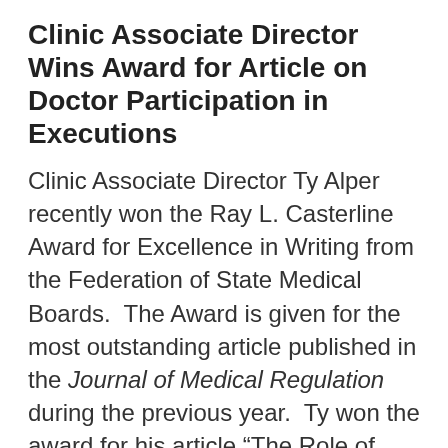Clinic Associate Director Wins Award for Article on Doctor Participation in Executions
Clinic Associate Director Ty Alper recently won the Ray L. Casterline Award for Excellence in Writing from the Federation of State Medical Boards.  The Award is given for the most outstanding article published in the Journal of Medical Regulation during the previous year.  Ty won the award for his article “The Role of State Medical Boards in Regulating Physician Participation in Executions,” which examines the legal authority of state medical boards to discipline doctors for participating in executions, and concludes that in most, if